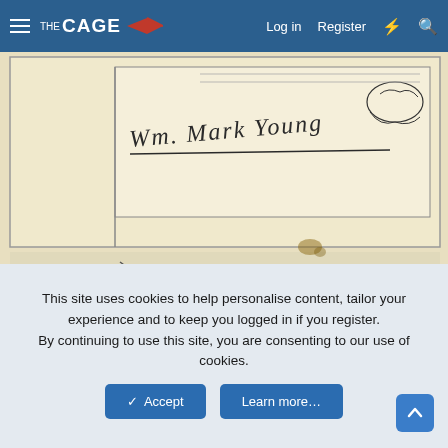THE CAGE — Log in | Register
[Figure (photo): Scanned handwritten document showing cursive text reading 'Wm. Mark Young' with sketch of a face in the upper right, on aged yellowed paper with a rectangular border]
[Figure (photo): Desert sand dunes landscape photo showing smooth sandy curves in warm brown and tan tones]
This site uses cookies to help personalise content, tailor your experience and to keep you logged in if you register. By continuing to use this site, you are consenting to our use of cookies.
✓ Accept | Learn more...